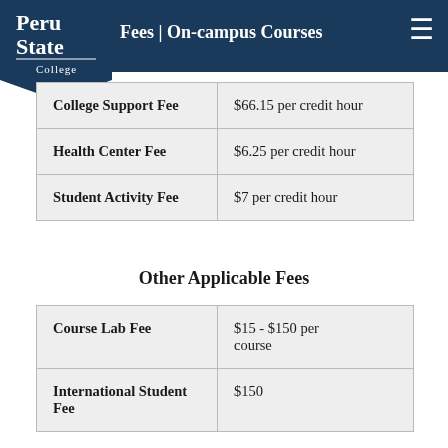Peru State College — Fees | On-campus Courses
| Fee Name | Amount |
| --- | --- |
| College Support Fee | $66.15 per credit hour |
| Health Center Fee | $6.25 per credit hour |
| Student Activity Fee | $7 per credit hour |
Other Applicable Fees
| Fee Name | Amount |
| --- | --- |
| Course Lab Fee | $15 - $150 per course |
| International Student Fee | $150 |